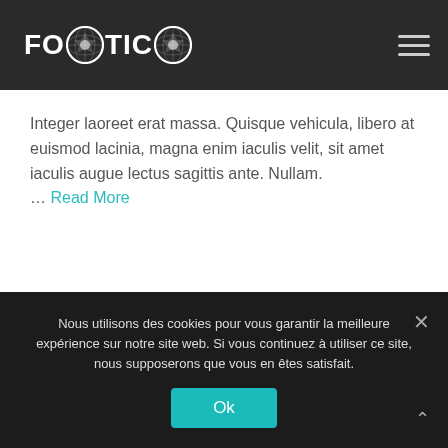FOOTIC
Integer laoreet erat massa. Quisque vehicula, libero at euismod lacinia, magna enim iaculis velit, sit amet iaculis augue lectus sagittis ante. Nullam. … Read More
← Older posts
Nous utilisons des cookies pour vous garantir la meilleure expérience sur notre site web. Si vous continuez à utiliser ce site, nous supposerons que vous en êtes satisfait.
Ok